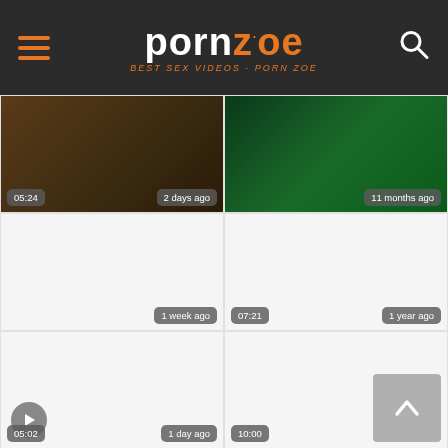pornzoe - BEST SEX VIDEOS - PORN ZOE
[Figure (screenshot): Video thumbnail grid showing adult content website pornzoe with 6 video thumbnails in 2 columns. Top row: dark brownish thumbnail with badge '05:24' and '2 days ago'; green-lit room thumbnail with badge '11 months ago'. Middle row: white/blank thumbnail with '1 week ago'; thumbnail with '07:21' time badge and '1 year ago'. Bottom row: white thumbnail with play icon, '05:02' and '1 day ago'; white thumbnail with '10:00' and '4 years ago'. Back-to-top arrow button visible in bottom right.]